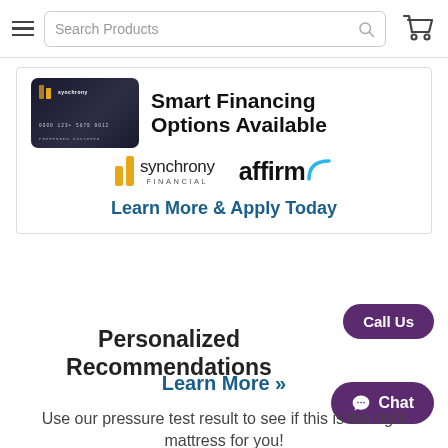Search Products (navigation bar with search, hamburger menu, and cart icon)
[Figure (infographic): Smart Financing Options Available banner with Synchrony credit card image, Synchrony Financial logo, Affirm logo, and Learn More & Apply Today link]
Smart Financing Options Available
Learn More & Apply Today
Call Us
Personalized Recommendations
Learn More »
Use our pressure test result to see if this is the right mattress for you!
Chat